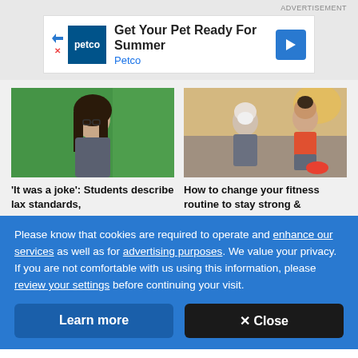[Figure (photo): Petco advertisement banner: Get Your Pet Ready For Summer]
[Figure (photo): Young woman with dark hair and glasses sitting in front of a green screen background]
'It was a joke': Students describe lax standards,
[Figure (photo): Older man with white beard and young woman in athletic wear stretching outdoors]
How to change your fitness routine to stay strong &
Please know that cookies are required to operate and enhance our services as well as for advertising purposes. We value your privacy. If you are not comfortable with us using this information, please review your settings before continuing your visit.
Learn more
✕ Close